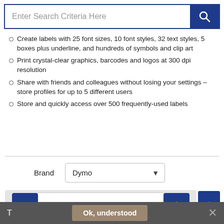[Figure (screenshot): Search bar with placeholder text 'Enter Search Criteria Here' and a dark blue search button with magnifying glass icon]
Create labels with 25 font sizes, 10 font styles, 32 text styles, 5 boxes plus underline, and hundreds of symbols and clip art
Print crystal-clear graphics, barcodes and logos at 300 dpi resolution
Share with friends and colleagues without losing your settings – store profiles for up to 5 different users
Store and quickly access over 500 frequently-used labels
Brand   Dymo
1
Ok, understood